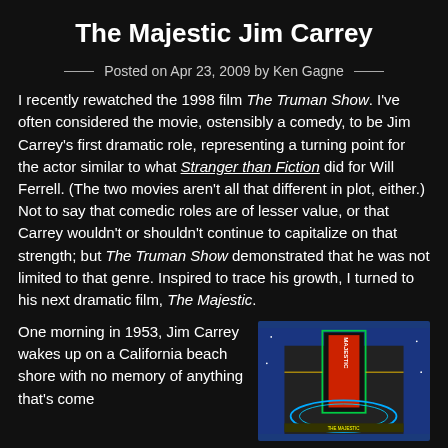The Majestic Jim Carrey
Posted on Apr 23, 2009 by Ken Gagne
I recently rewatched the 1998 film The Truman Show. I've often considered the movie, ostensibly a comedy, to be Jim Carrey's first dramatic role, representing a turning point for the actor similar to what Stranger than Fiction did for Will Ferrell. (The two movies aren't all that different in plot, either.) Not to say that comedic roles are of lesser value, or that Carrey wouldn't or shouldn't continue to capitalize on that strength; but The Truman Show demonstrated that he was not limited to that genre. Inspired to trace his growth, I turned to his next dramatic film, The Majestic.
One morning in 1953, Jim Carrey wakes up on a California beach shore with no memory of anything that's come
[Figure (photo): Neon-lit marquee sign of The Majestic theater at night against a blue sky]